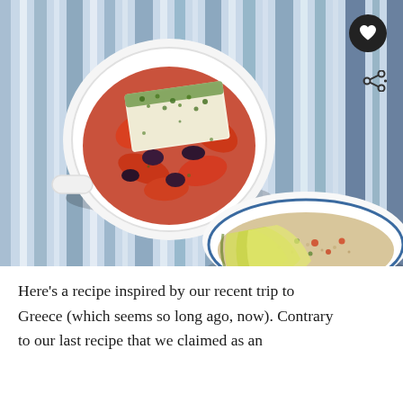[Figure (photo): Overhead photo of two white ceramic bowls on a blue and white striped tablecloth. The top bowl contains roasted tomatoes, kalamata olives, and a large slab of herb-crusted feta cheese. The bottom bowl contains sliced avocado and a grain salad. A heart icon button and a share icon are overlaid on the bottom-right of the image.]
Here's a recipe inspired by our recent trip to Greece (which seems so long ago, now). Contrary to our last recipe that we claimed as an